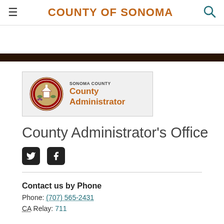COUNTY OF SONOMA
[Figure (logo): Sonoma County seal logo with 'SONOMA COUNTY County Administrator' text beside it, inside a bordered box]
County Administrator's Office
[Figure (other): Twitter and Facebook social media icons (black rounded squares)]
Contact us by Phone
Phone: (707) 565-2431
CA Relay: 711